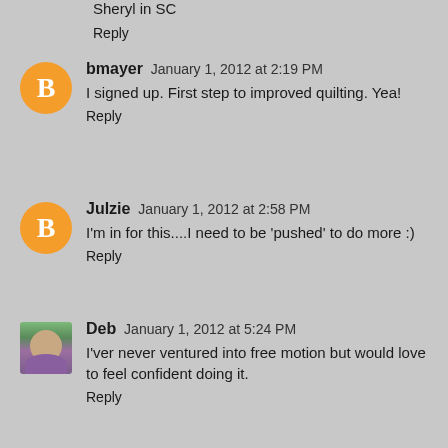Sheryl in SC
Reply
bmayer  January 1, 2012 at 2:19 PM
I signed up. First step to improved quilting. Yea!
Reply
Julzie  January 1, 2012 at 2:58 PM
I'm in for this....I need to be 'pushed' to do more :)
Reply
Deb  January 1, 2012 at 5:24 PM
I'ver never ventured into free motion but would love to feel confident doing it.
Reply